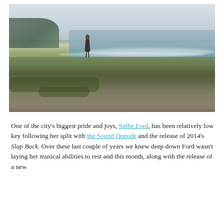[Figure (photo): A woman in a floral dress standing on rocky coastal shore with waves and ocean behind her, under a cloudy sky.]
One of the city's biggest pride and joys, Sallie Ford, has been relatively low key following her split with the Sound Outside and the release of 2014's Slap Back. Over these last couple of years we knew deep down Ford wasn't laying her musical abilities to rest and this month, along with the release of a new single, she announced she was going to join in…